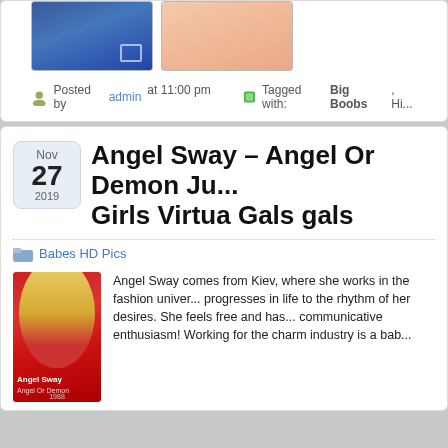[Figure (photo): Two photos: woman in blue outfit on left, close-up skin/body on right]
Posted by admin at 11:00 pm
Tagged with: Big Boobs, Hi...
Angel Sway – Angel Or Demon Ju... Girls Virtua Gals gals
Babes HD Pics
[Figure (photo): Angel Sway - woman with blonde hair in red lingerie on red background. Text overlay reads Angel Sway, Angel Or Demon, 1988]
Angel Sway comes from Kiev, where she works in the fashion univer... progresses in life to the rhythm of her desires. She feels free and has... communicative enthusiasm! Working for the charm industry is a bab...